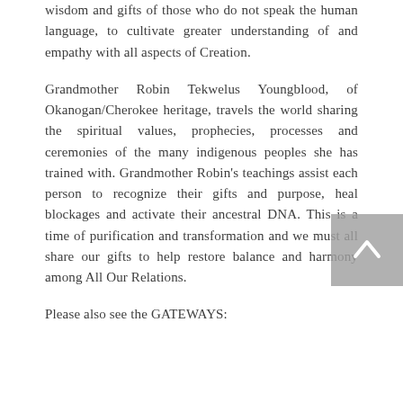wisdom and gifts of those who do not speak the human language, to cultivate greater understanding of and empathy with all aspects of Creation.
Grandmother Robin Tekwelus Youngblood, of Okanogan/Cherokee heritage, travels the world sharing the spiritual values, prophecies, processes and ceremonies of the many indigenous peoples she has trained with. Grandmother Robin's teachings assist each person to recognize their gifts and purpose, heal blockages and activate their ancestral DNA. This is a time of purification and transformation and we must all share our gifts to help restore balance and harmony among All Our Relations.
Please also see the GATEWAYS: